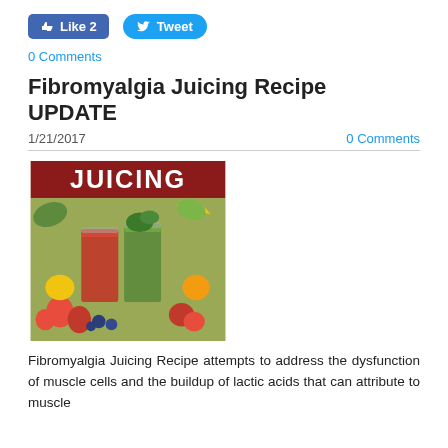[Figure (other): Facebook Like button showing 'Like 2' and Twitter Tweet button]
0 Comments
Fibromyalgia Juicing Recipe UPDATE
1/21/2017
0 Comments
[Figure (photo): Juicing book cover/image showing two juice glasses (red and green) surrounded by fruits and vegetables with red banner reading JUICING]
Fibromyalgia Juicing Recipe attempts to address the dysfunction of muscle cells and the buildup of lactic acids that can attribute to muscle